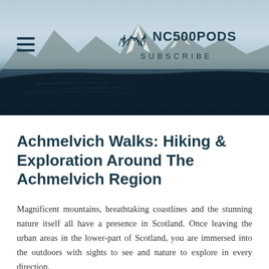[Figure (screenshot): Header photograph of a Scottish loch with snow-capped mountains reflected in the dark water, misty atmospheric landscape. NC500PODS logo with stylized mountain/flame icon, hamburger menu on left, SUBSCRIBE text below logo.]
Achmelvich Walks: Hiking & Exploration Around The Achmelvich Region
Magnificent mountains, breathtaking coastlines and the stunning nature itself all have a presence in Scotland. Once leaving the urban areas in the lower-part of Scotland, you are immersed into the outdoors with sights to see and nature to explore in every direction.